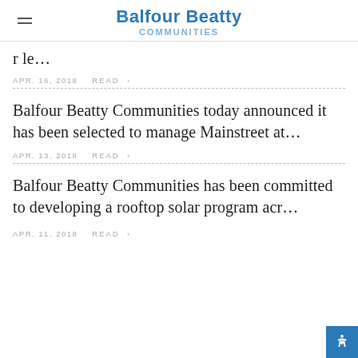Balfour Beatty Communities
r le...
APR. 16, 2018   READ >
Balfour Beatty Communities today announced it has been selected to manage Mainstreet at...
APR. 13, 2018   READ >
Balfour Beatty Communities has been committed to developing a rooftop solar program acr...
APR. 11, 2018   READ >